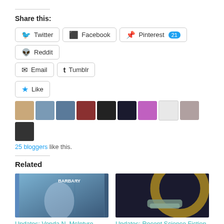Share this:
Twitter
Facebook
Pinterest 21
Reddit
Email
Tumblr
25 bloggers like this.
Related
[Figure (photo): Book cover: Barbary by Vonda N. McIntyre]
Updates: Vonda N. McIntyre (August 28, 1948 – April 1, 2019)
[Figure (photo): Science fiction artwork: spacecraft near planet]
Updates: Recent Science Fiction Acquisitions No. LXXXIII (Randall + Devereaux Shores...)